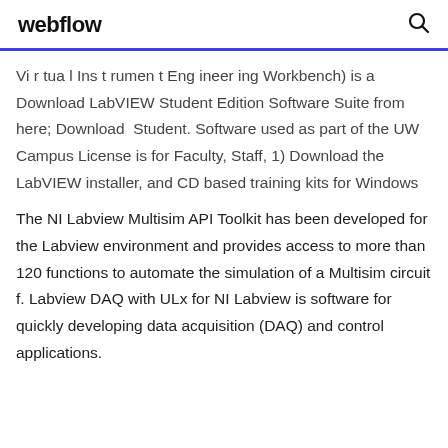webflow
Virtual Instrument Engineering Workbench) is a Download LabVIEW Student Edition Software Suite from here; Download  Student. Software used as part of the UW Campus License is for Faculty, Staff, 1) Download the LabVIEW installer, and CD based training kits for Windows
The NI Labview Multisim API Toolkit has been developed for the Labview environment and provides access to more than 120 functions to automate the simulation of a Multisim circuit f. Labview DAQ with ULx for NI Labview is software for quickly developing data acquisition (DAQ) and control applications.